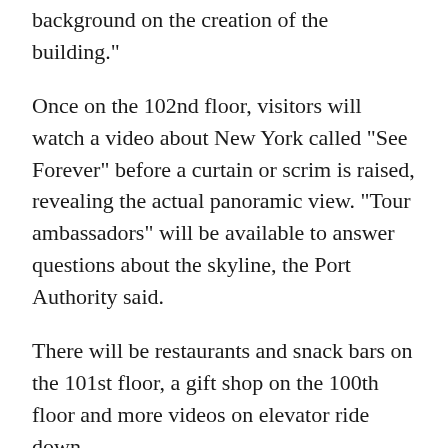background on the creation of the building."
Once on the 102nd floor, visitors will watch a video about New York called "See Forever" before a curtain or scrim is raised, revealing the actual panoramic view. "Tour ambassadors" will be available to answer questions about the skyline, the Port Authority said.
There will be restaurants and snack bars on the 101st floor, a gift shop on the 100th floor and more videos on elevator ride down.
The cost to take the hour-plus tour has not been determined but officials said it would be comparable to similar attractions, with group discounts available. The 86th-floor observation deck at the Empire State Building costs $25.